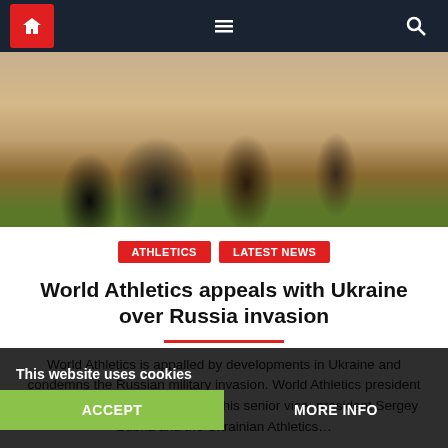Navigation bar with home, menu, and search icons
[Figure (photo): Runners on a track during a race, close-up of legs and feet, outdoor athletics event on a red track with green grass visible]
ATHLETICS   LATEST NEWS
World Athletics appeals with Ukraine over Russia invasion
World Athletics is appalled by developments in Ukraine and condemns the Russian military invasion. World Athletics president Sebastian Coe has spoken with his senior vice-president Sergey Bubka and the Ukrainian Athletics...ered whatever practical support we can give. We continue to monitor the situation carefully...on to believe prep...
This website uses cookies
ACCEPT   MORE INFO